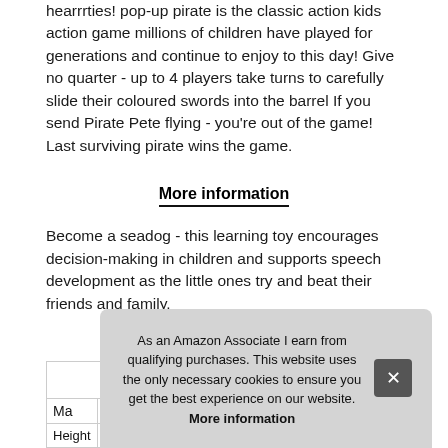hearrrties! pop-up pirate is the classic action kids action game millions of children have played for generations and continue to enjoy to this day! Give no quarter - up to 4 players take turns to carefully slide their coloured swords into the barrel If you send Pirate Pete flying - you're out of the game! Last surviving pirate wins the game.
More information
Become a seadog - this learning toy encourages decision-making in children and supports speech development as the little ones try and beat their friends and family.
| Ma |  |
| Height | 20.07 cm (10.5 inches) |
As an Amazon Associate I earn from qualifying purchases. This website uses the only necessary cookies to ensure you get the best experience on our website. More information